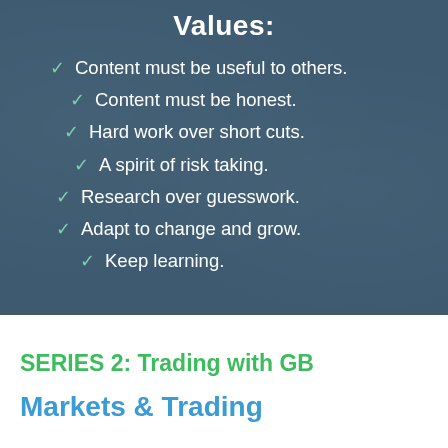Values:
Content must be useful to others.
Content must be honest.
Hard work over short cuts.
A spirit of risk taking.
Research over guesswork.
Adapt to change and grow.
Keep learning.
SERIES 2: Trading with GB
Markets & Trading